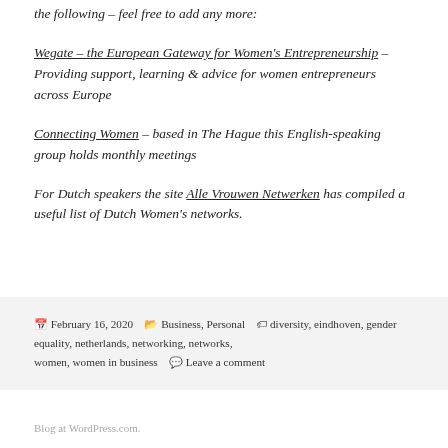the following – feel free to add any more:
Wegate – the European Gateway for Women's Entrepreneurship – Providing support, learning & advice for women entrepreneurs across Europe
Connecting Women – based in The Hague this English-speaking group holds monthly meetings
For Dutch speakers the site Alle Vrouwen Netwerken has compiled a useful list of Dutch Women's networks.
Posted February 16, 2020  Categories Business, Personal  Tags diversity, eindhoven, gender equality, netherlands, networking, networks, women, women in business  Leave a comment
Blog at WordPress.com.